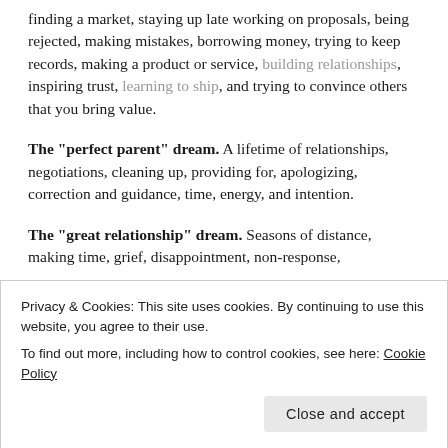finding a market, staying up late working on proposals, being rejected, making mistakes, borrowing money, trying to keep records, making a product or service, building relationships, inspiring trust, learning to ship, and trying to convince others that you bring value.
The "perfect parent" dream. A lifetime of relationships, negotiations, cleaning up, providing for, apologizing, correction and guidance, time, energy, and intention.
The "great relationship" dream. Seasons of distance, making time, grief, disappointment, non-response,
Privacy & Cookies: This site uses cookies. By continuing to use this website, you agree to their use.
To find out more, including how to control cookies, see here: Cookie Policy